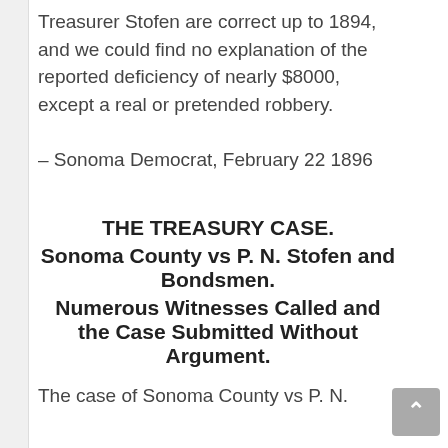Treasurer Stofen are correct up to 1894, and we could find no explanation of the reported deficiency of nearly $8000, except a real or pretended robbery.
– Sonoma Democrat, February 22 1896
THE TREASURY CASE.
Sonoma County vs P. N. Stofen and Bondsmen.
Numerous Witnesses Called and the Case Submitted Without Argument.
The case of Sonoma County vs P. N.